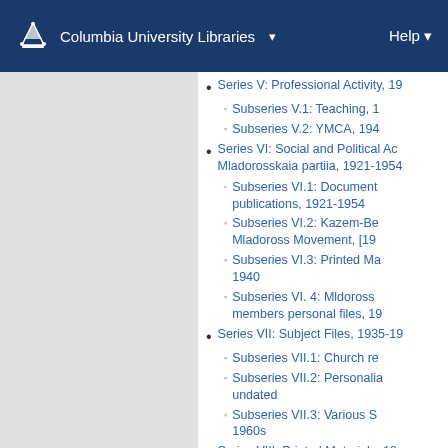Columbia University Libraries  Help
Series V: Professional Activity, 19...
Subseries V.1: Teaching, 1...
Subseries V.2: YMCA, 194...
Series VI: Social and Political Ac... Mladorosskaia partiia, 1921-1954...
Subseries VI.1: Document... publications, 1921-1954
Subseries VI.2: Kazem-Be... Mladoross Movement, [19...
Subseries VI.3: Printed Ma... 1940
Subseries VI. 4: Mldoross... members personal files, 19...
Series VII: Subject Files, 1935-19...
Subseries VII.1: Church re...
Subseries VII.2: Personalia... undated
Subseries VII.3: Various S... 1960s
Series VIII: Printed Materials, 19...